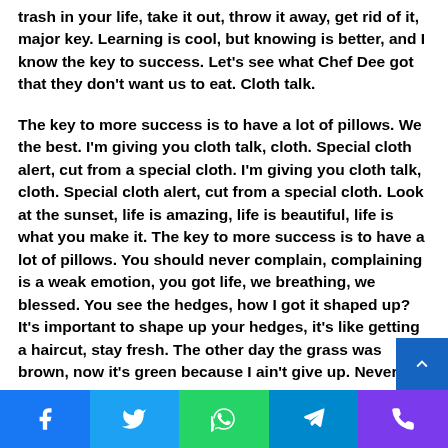trash in your life, take it out, throw it away, get rid of it, major key. Learning is cool, but knowing is better, and I know the key to success. Let's see what Chef Dee got that they don't want us to eat. Cloth talk.
The key to more success is to have a lot of pillows. We the best. I'm giving you cloth talk, cloth. Special cloth alert, cut from a special cloth. I'm giving you cloth talk, cloth. Special cloth alert, cut from a special cloth. Look at the sunset, life is amazing, life is beautiful, life is what you make it. The key to more success is to have a lot of pillows. You should never complain, complaining is a weak emotion, you got life, we breathing, we blessed. You see the hedges, how I got it shaped up? It's important to shape up your hedges, it's like getting a haircut, stay fresh. The other day the grass was brown, now it's green because I ain't give up. Never